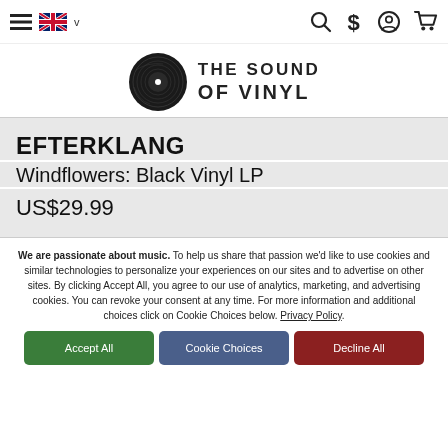Navigation bar with hamburger menu, UK flag language selector, search, currency, account, and cart icons
[Figure (logo): The Sound of Vinyl logo: vinyl record disc icon with 'THE SOUND OF VINYL' text]
EFTERKLANG
Windflowers: Black Vinyl LP
US$29.99
We are passionate about music. To help us share that passion we'd like to use cookies and similar technologies to personalize your experiences on our sites and to advertise on other sites. By clicking Accept All, you agree to our use of analytics, marketing, and advertising cookies. You can revoke your consent at any time. For more information and additional choices click on Cookie Choices below. Privacy Policy.
Accept All
Cookie Choices
Decline All